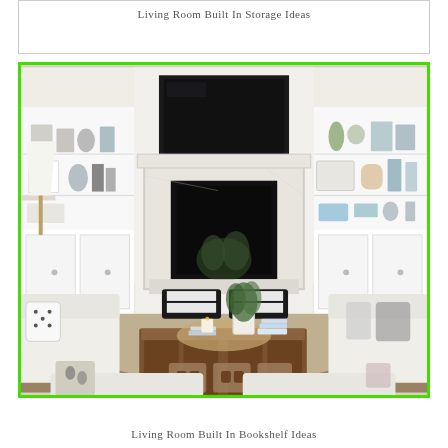Living Room Built In Storage Ideas
[Figure (photo): Bright white living room with built-in bookshelves flanking a marble fireplace, TV mounted above, wooden coffee table with wicker tray and plant centerpiece, striped ottomans, white sofas with patterned pillows, natural fiber rug, and wicker baskets under the coffee table. Image outlined with bright green border.]
Living Room Built In Bookshelf Ideas